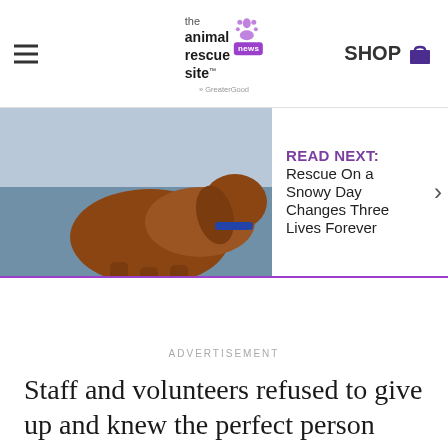the animal rescue site · SHOP
[Figure (photo): A brown/red long-haired dachshund dog sitting by water, viewed from behind/side]
READ NEXT: Rescue On a Snowy Day Changes Three Lives Forever
ADVERTISEMENT
Staff and volunteers refused to give up and knew the perfect person was out there and